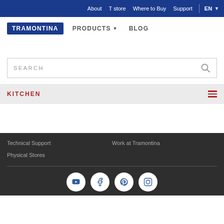About  T store  Where to Buy  Support  EN
TRAMONTINA  PRODUCTS  BLOG
SEARCH
KITCHEN
Technical Support    Work at Tramontina    Physical Stores
[Figure (other): Social media icons: YouTube, Facebook, Pinterest, Instagram in white circles on dark footer]